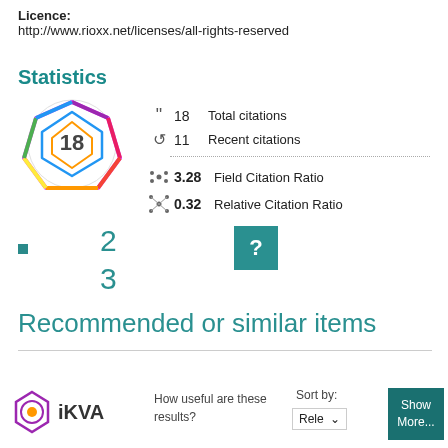Licence:
http://www.rioxx.net/licenses/all-rights-reserved
Statistics
[Figure (infographic): Citation badge showing 18 citations, represented as a colorful heptagon/diamond shape]
18   Total citations
11   Recent citations
3.28   Field Citation Ratio
0.32   Relative Citation Ratio
[Figure (other): Teal square with white question mark]
2
3
Recommended or similar items
[Figure (logo): IKVA logo with text 'iKVA']
How useful are these results?
Sort by:
Rele
Show More...